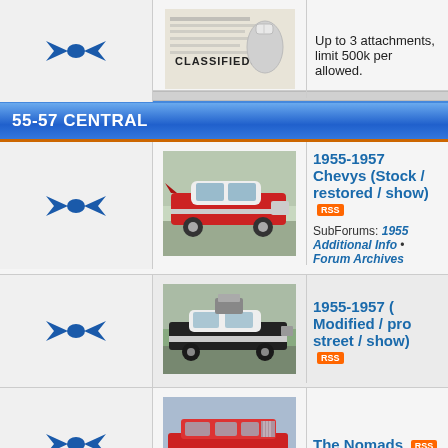[Figure (screenshot): Partial forum row at top showing classifieds thumbnail and text: Up to 3 attachments, limit 500k per allowed.]
55-57 CENTRAL
[Figure (photo): Red 1955-1957 Chevy stock/restored/show car]
1955-1957 Chevys (Stock / restored / show) RSS SubForums: 1955 Additional Info • Forum Archives
[Figure (photo): Black 1955-1957 modified/pro street Chevy]
1955-1957 ( Modified / pro street / show) RSS
[Figure (photo): Red Nomad station wagon]
The Nomads RSS
[Figure (illustration): Classifieds newspaper image]
FREE 55-57 Classified Ads FREE RSS Up to 3 attachments, limit 500k per allowed.